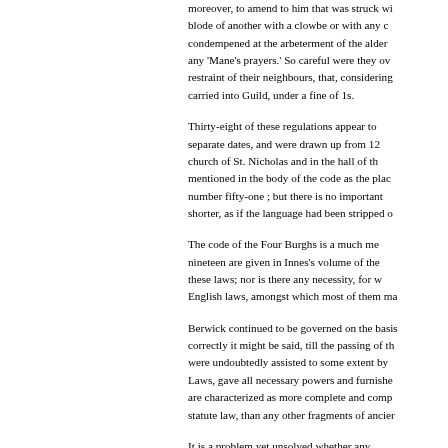moreover, to amend to him that was struck wi... blode of another with a clowbe or with any c... condempened at the arbeterment of the alder... any 'Mane's prayers.' So careful were they ov... restraint of their neighbours, that, considering... carried into Guild, under a fine of 1s.
Thirty-eight of these regulations appear to separate dates, and were drawn up from 12... church of St. Nicholas and in the hall of th... mentioned in the body of the code as the plac... number fifty-one ; but there is no important shorter, as if the language had been stripped o...
The code of the Four Burghs is a much me... nineteen are given in Innes's volume of the ... these laws; nor is there any necessity, for w... English laws, amongst which most of them ma...
Berwick continued to be governed on the basis... correctly it might be said, till the passing of th... were undoubtedly assisted to some extent by Laws, gave all necessary powers and furnishe... are characterized as more complete and comp... statute law, than any other fragments of ancier...
It is a problem yet unsolved whether any presumption is that such was the case. None save in the time of the Alexanders. The nature... an inquisition in the time of Edward III., still p...